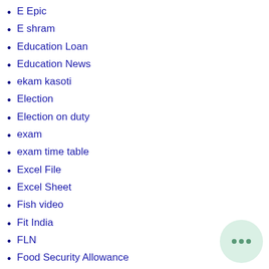E Epic
E shram
Education Loan
Education News
ekam kasoti
Election
Election on duty
exam
exam time table
Excel File
Excel Sheet
Fish video
Fit India
FLN
Food Security Allowance
Frame work
G-shala
Ganesh chaturthi
[Figure (illustration): Chat bubble icon in bottom-right corner with light green background]